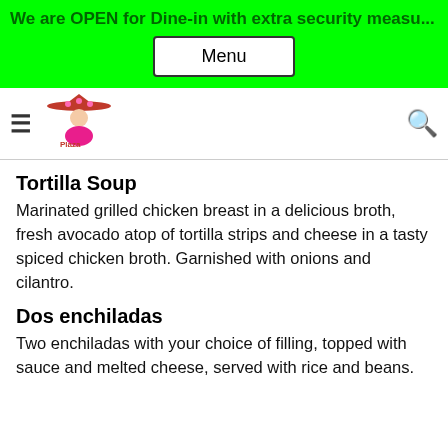We are OPEN for Dine-in with extra security measu...
Menu
[Figure (logo): Plaza Garibaldi restaurant logo with mariachi figure]
Tortilla Soup
Marinated grilled chicken breast in a delicious broth, fresh avocado atop of tortilla strips and cheese in a tasty spiced chicken broth. Garnished with onions and cilantro.
Dos enchiladas
Two enchiladas with your choice of filling, topped with sauce and melted cheese, served with rice and beans.